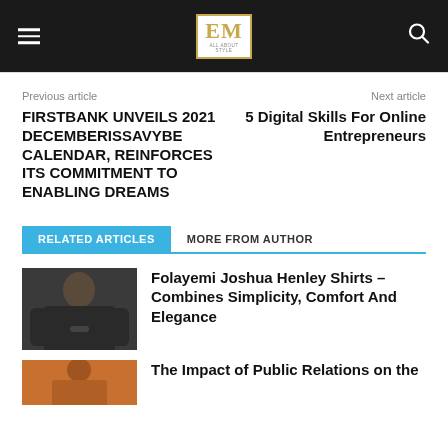EM ALL ABOUT STYLE
Previous article
Next article
FIRSTBANK UNVEILS 2021 DECEMBERISSAVYBE CALENDAR, REINFORCES ITS COMMITMENT TO ENABLING DREAMS
5 Digital Skills For Online Entrepreneurs
RELATED ARTICLES
MORE FROM AUTHOR
[Figure (photo): Person wearing a dark henley shirt]
Folayemi Joshua Henley Shirts – Combines Simplicity, Comfort And Elegance
[Figure (photo): Person in orange/brown clothing]
The Impact of Public Relations on the